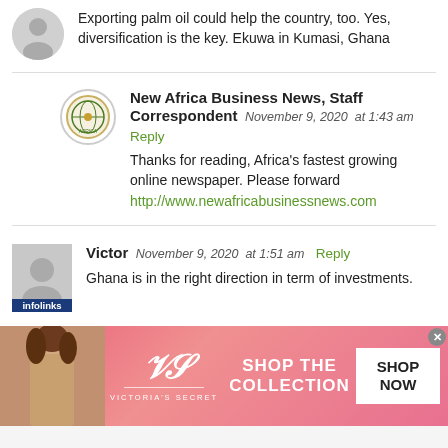Exporting palm oil could help the country, too. Yes, diversification is the key. Ekuwa in Kumasi, Ghana
New Africa Business News, Staff Correspondent  November 9, 2020  at 1:43 am
Reply
Thanks for reading, Africa's fastest growing online newspaper. Please forward http://www.newafricabusinessnews.com
Victor  November 9, 2020  at 1:51 am  Reply
Ghana is in the right direction in term of investments.
[Figure (photo): Victoria's Secret advertisement banner with a model, VS logo, 'SHOP THE COLLECTION' text, and 'SHOP NOW' button]